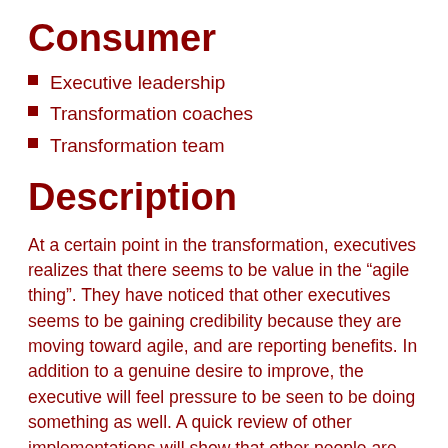Consumer
Executive leadership
Transformation coaches
Transformation team
Description
At a certain point in the transformation, executives realizes that there seems to be value in the “agile thing”. They have noticed that other executives seems to be gaining credibility because they are moving toward agile, and are reporting benefits. In addition to a genuine desire to improve, the executive will feel pressure to be seen to be doing something as well. A quick review of other implementations will show that other people are using SAFe. There is a nice website, with a lot of information that speaks the language of the executive (strategic themes, portfolio planning, etc). that seems to be well